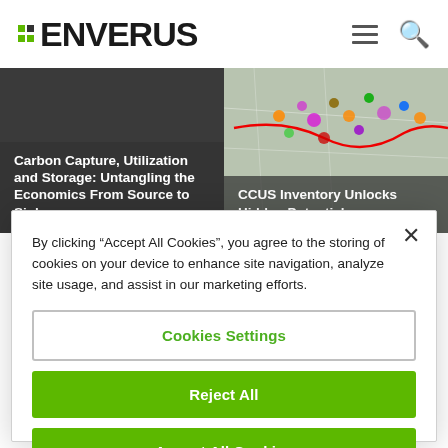[Figure (logo): Enverus logo with green grid icon and bold black text]
[Figure (screenshot): Two article cards - left dark gray: 'Carbon Capture, Utilization and Storage: Untangling the Economics From Source to Sink'; right shows a colorful map with 'CCUS Inventory Unlocks Hidden Potential']
By clicking "Accept All Cookies", you agree to the storing of cookies on your device to enhance site navigation, analyze site usage, and assist in our marketing efforts.
Cookies Settings
Reject All
Accept All Cookies